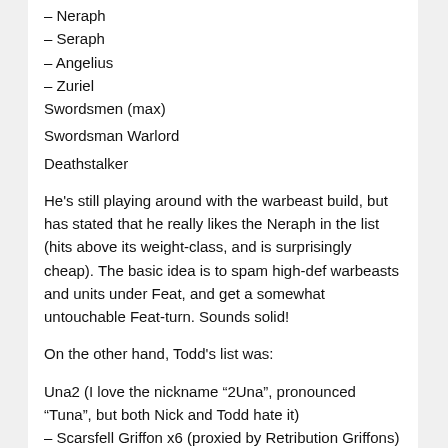– Neraph
– Seraph
– Angelius
– Zuriel
Swordsmen (max)
Swordsman Warlord
Deathstalker
He's still playing around with the warbeast build, but has stated that he really likes the Neraph in the list (hits above its weight-class, and is surprisingly cheap). The basic idea is to spam high-def warbeasts and units under Feat, and get a somewhat untouchable Feat-turn. Sounds solid!
On the other hand, Todd's list was:
Una2 (I love the nickname “2Una”, pronounced “Tuna”, but both Nick and Todd hate it)
– Scarsfell Griffon x6 (proxied by Retribution Griffons)
– Pureblood Warpwolf
– Gorax
Bloodtrackers (max)